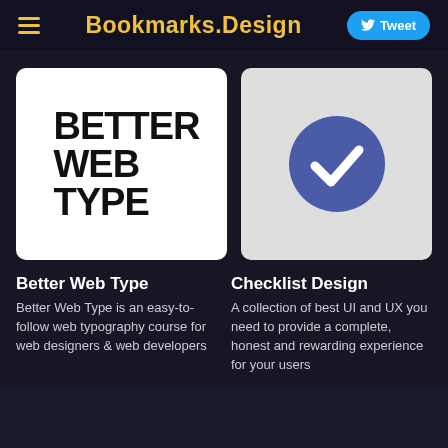Bookmarks.Design
[Figure (screenshot): Better Web Type logo card - white card with large bold black uppercase text reading BETTER WEB TYPE]
[Figure (illustration): Checklist Design card - light gray card with a blue circle containing a white checkmark]
Better Web Type
Better Web Type is an easy-to-follow web typography course for web designers & web developers
Checklist Design
A collection of best UI and UX you need to provide a complete, honest and rewarding experience for your users